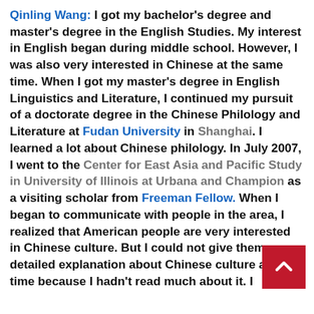Qinling Wang: I got my bachelor's degree and master's degree in the English Studies. My interest in English began during middle school. However, I was also very interested in Chinese at the same time. When I got my master's degree in English Linguistics and Literature, I continued my pursuit of a doctorate degree in the Chinese Philology and Literature at Fudan University in Shanghai. I learned a lot about Chinese philology. In July 2007, I went to the Center for East Asia and Pacific Study in University of Illinois at Urbana and Champion as a visiting scholar from Freeman Fellow. When I began to communicate with people in the area, I realized that American people are very interested in Chinese culture. But I could not give them very detailed explanation about Chinese culture at that time because I hadn't read much about it. I